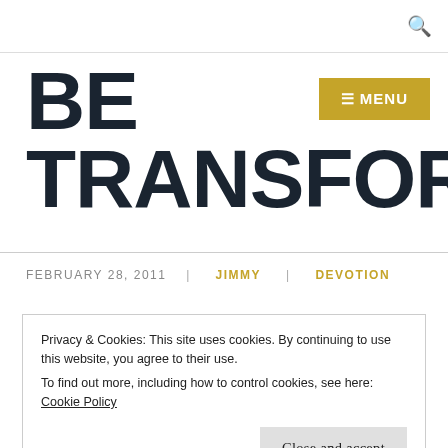🔍
BE TRANSFORMED
[Figure (other): Gold MENU button with hamburger lines icon]
FEBRUARY 28, 2011  |  JIMMY  |  DEVOTION
Privacy & Cookies: This site uses cookies. By continuing to use this website, you agree to their use.
To find out more, including how to control cookies, see here: Cookie Policy
Close and accept